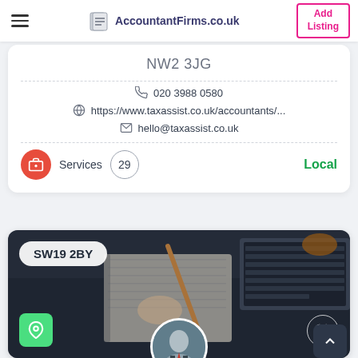AccountantFirms.co.uk | Add Listing
NW2 3JG
020 3988 0580
https://www.taxassist.co.uk/accountants/...
hello@taxassist.co.uk
Services 29 Local
[Figure (photo): Dark background photo showing a desk with a spiral notebook, pencil, phone, and laptop keyboard. Overlay shows postcode badge SW19 2BY, a green location pin button, a heart/favorite icon, and a circular profile photo of a man in a suit.]